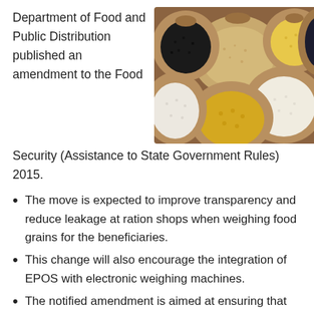Department of Food and Public Distribution published an amendment to the Food Security (Assistance to State Government Rules) 2015.
[Figure (photo): Overhead view of multiple burlap sacks filled with various grains, seeds, and legumes including black sesame, millet, white rice, yellow mustard seeds, and other grains arranged in a circular pattern on a wooden surface.]
The move is expected to improve transparency and reduce leakage at ration shops when weighing food grains for the beneficiaries.
This change will also encourage the integration of EPOS with electronic weighing machines.
The notified amendment is aimed at ensuring that the beneficiaries receive the right amount of foodgrains subsidized under the National Food Security Act (NFSA) 2013 as per their entitlement.